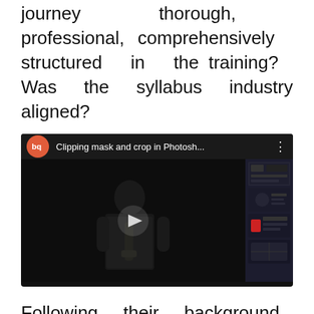journey thorough, professional, comprehensively structured in the training? Was the syllabus industry aligned?
[Figure (screenshot): Embedded video player screenshot showing a video titled 'Clipping mask and crop in Photosh...' with a BQ (orange) logo, a dark video frame showing a person playing saxophone, and a sidebar with thumbnails.]
Following their background was that student review real, genuine and to the point or biased, fake or redacted? Does